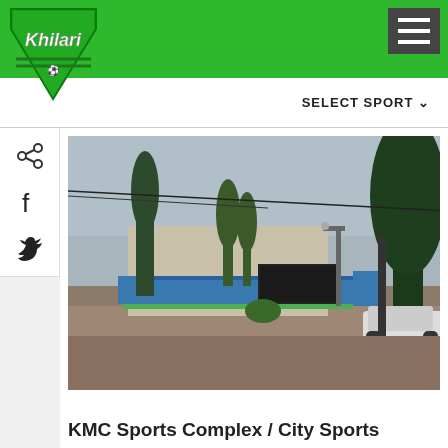Khilari - SELECT SPORT
[Figure (photo): Outdoor photo of KMC Sports Complex / City Sports entrance area with trees, street lamp, parked car, and blue signage on an overcast day]
KMC Sports Complex / City Sports